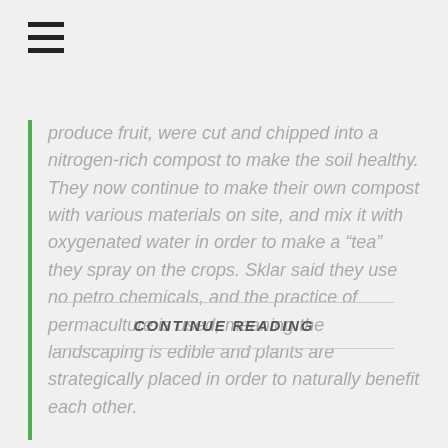[Figure (other): Hamburger menu icon (three horizontal bars)]
produce fruit, were cut and chipped into a nitrogen-rich compost to make the soil healthy. They now continue to make their own compost with various materials on site, and mix it with oxygenated water in order to make a “tea” they spray on the crops. Sklar said they use no petro chemicals, and the practice of permaculture is used, meaning the landscaping is edible and plants are strategically placed in order to naturally benefit each other.
CONTINUE READING